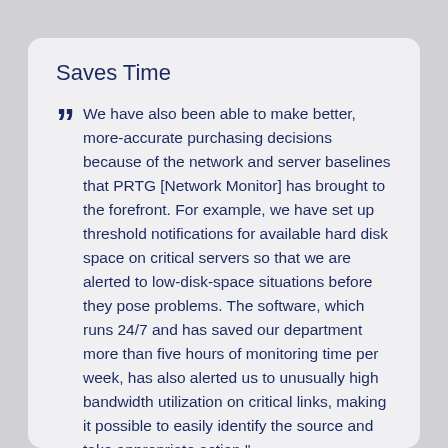Saves Time
We have also been able to make better, more-accurate purchasing decisions because of the network and server baselines that PRTG [Network Monitor] has brought to the forefront. For example, we have set up threshold notifications for available hard disk space on critical servers so that we are alerted to low-disk-space situations before they pose problems. The software, which runs 24/7 and has saved our department more than five hours of monitoring time per week, has also alerted us to unusually high bandwidth utilization on critical links, making it possible to easily identify the source and take appropriate action."
Robert Hutter, Senior Network Engineer,